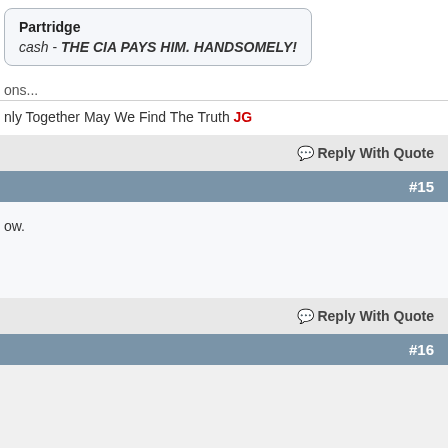Partridge
cash - THE CIA PAYS HIM. HANDSOMELY!
ons...
Only Together May We Find The Truth JG
Reply With Quote
#15
ow.
Reply With Quote
#16